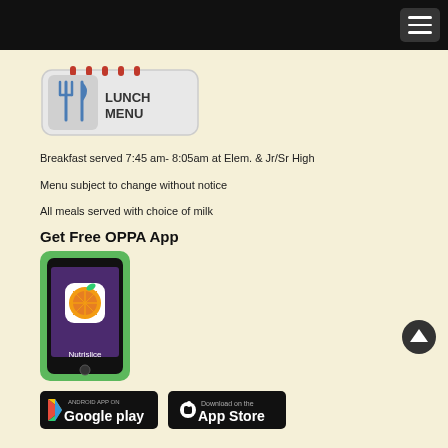[Figure (logo): Lunch Menu logo with fork and knife icon on a notepad style badge]
Breakfast served 7:45 am- 8:05am at Elem. & Jr/Sr High
Menu subject to change without notice
All meals served with choice of milk
Get Free OPPA App
[Figure (illustration): Android phone with Nutrislice orange app icon displayed on purple screen with green phone border]
[Figure (logo): Google Play Store download badge]
[Figure (logo): Apple App Store Download on the App Store badge]